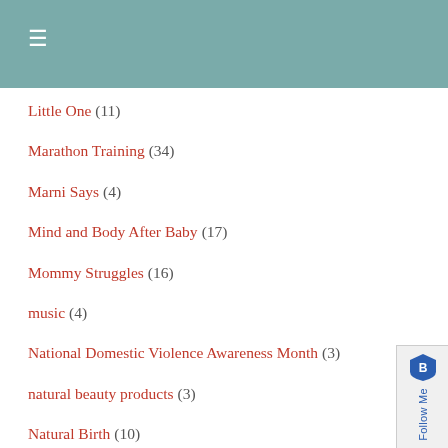≡
Little One (11)
Marathon Training (34)
Marni Says (4)
Mind and Body After Baby (17)
Mommy Struggles (16)
music (4)
National Domestic Violence Awareness Month (3)
natural beauty products (3)
Natural Birth (10)
Natural Birth Control (7)
November Push-Up Challenge (2)
Oh, Controversy! (27)
Operation Beautiful Events (17)
Operation Beautiful News (1)